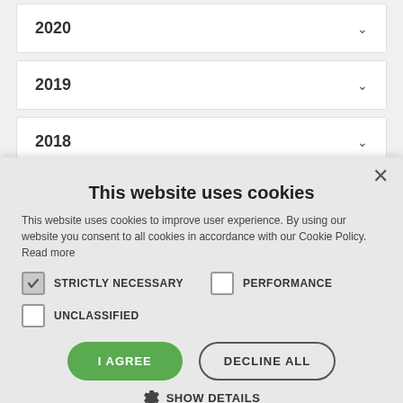2020
2019
2018
2017
This website uses cookies
This website uses cookies to improve user experience. By using our website you consent to all cookies in accordance with our Cookie Policy. Read more
STRICTLY NECESSARY
PERFORMANCE
UNCLASSIFIED
I AGREE
DECLINE ALL
SHOW DETAILS